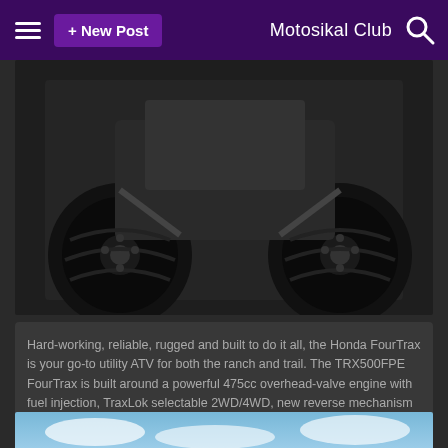≡  + New Post    Motosikal Club  🔍
[Figure (photo): ATV / quad bike photo showing front wheels and lower body of a Honda FourTrax ATV with black tires on dark background]
Hard-working, reliable, rugged and built to do it all, the Honda FourTrax is your go-to utility ATV for both the ranch and trail. The TRX500FPE FourTrax is built around a powerful 475cc overhead-valve engine with fuel injection, TraxLok selectable 2WD/4WD, new reverse mechanism and a dependable five-speed transmission. Plus, its towing-friendly swingarm rear suspension provides strong capability for towing and hauling, ensuring anda can tackle your toughest job atau kegemaran trail. These components are wrapped up in some tough, ruggedly designed bodywork to set the Honda Foreman apart from the…
continue reading...
[Figure (photo): Bottom of page partial image showing sky/clouds — preview of next article]